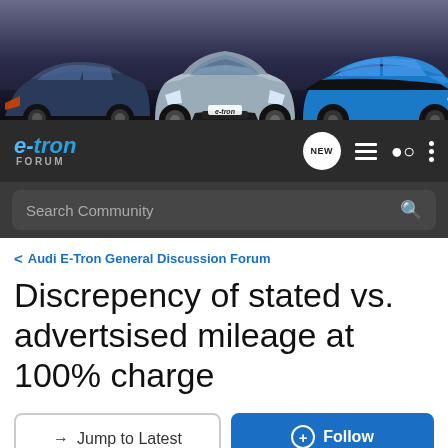[Figure (photo): Header banner showing three Audi e-tron electric vehicles on a dark gradient background. Left car is a dark blue coupe/sedan, center is a silver-grey sedan facing forward with e-tron badge, right is a blue SUV.]
e-tron FORUM
Search Community
< Audi E-Tron General Discussion Forum
Discrepency of stated vs. advertsised mileage at 100% charge
→ Jump to Latest
+ Follow